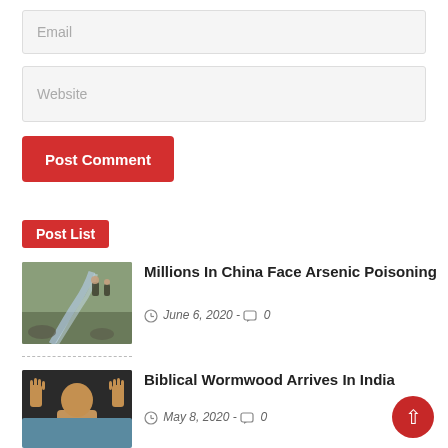Email
Website
Post Comment
Post List
[Figure (photo): Water flowing through a rocky landscape with people in the background]
Millions In China Face Arsenic Poisoning
June 6, 2020 - 0
[Figure (photo): A person holding up both hands showing all fingers]
Biblical Wormwood Arrives In India
May 8, 2020 - 0
[Figure (photo): Partial image of a third article]